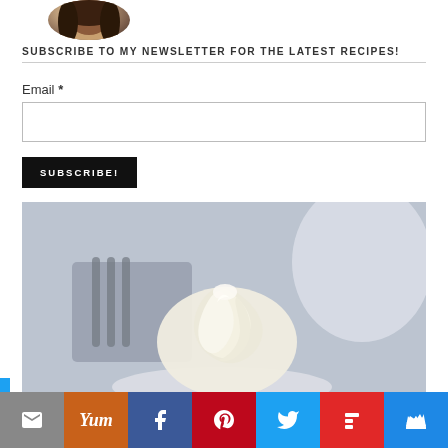[Figure (photo): Circular avatar photo of a woman with dark hair, partially cropped at top of page]
SUBSCRIBE TO MY NEWSLETTER FOR THE LATEST RECIPES!
Email *
SUBSCRIBE!
[Figure (photo): Close-up photo of a white cream swirl/piped frosting on a plate, with a fork visible in the blurred background]
[Figure (infographic): Social media sharing bar with icons: email (grey), Yummly (orange), Facebook (dark blue), Pinterest (red), Twitter (light blue), Flipboard (red), unknown (blue)]